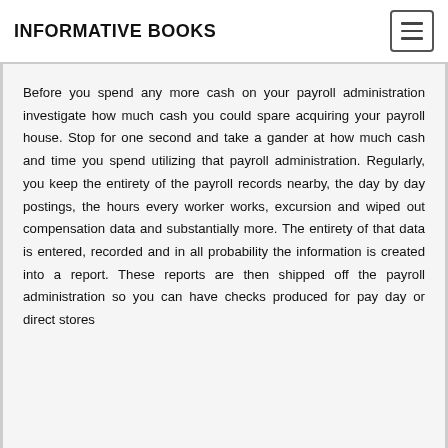INFORMATIVE BOOKS
Before you spend any more cash on your payroll administration investigate how much cash you could spare acquiring your payroll house. Stop for one second and take a gander at how much cash and time you spend utilizing that payroll administration. Regularly, you keep the entirety of the payroll records nearby, the day by day postings, the hours every worker works, excursion and wiped out compensation data and substantially more. The entirety of that data is entered, recorded and in all probability the information is created into a report. These reports are then shipped off the payroll administration so you can have checks produced for pay day or direct stores